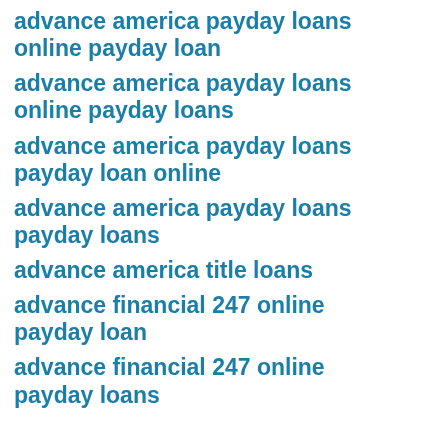advance america payday loans online payday loan
advance america payday loans online payday loans
advance america payday loans payday loan online
advance america payday loans payday loans
advance america title loans
advance financial 247 online payday loan
advance financial 247 online payday loans